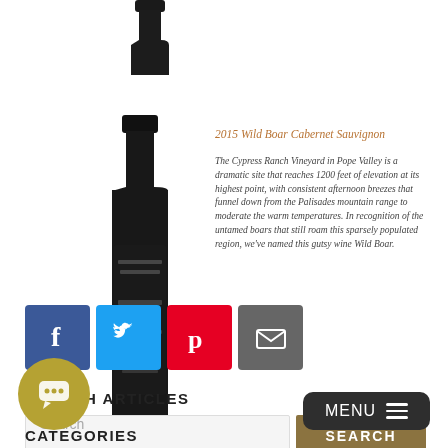[Figure (photo): Partial top of a dark wine bottle, cropped at top of page]
[Figure (photo): Full dark wine bottle labeled Wild Boar Cabernet Sauvignon]
2015 Wild Boar Cabernet Sauvignon
The Cypress Ranch Vineyard in Pope Valley is a dramatic site that reaches 1200 feet of elevation at its highest point, with consistent afternoon breezes that funnel down from the Palisades mountain range to moderate the warm temperatures. In recognition of the untamed boars that still roam this sparsely populated region, we've named this gutsy wine Wild Boar.
[Figure (infographic): Social sharing icons: Facebook (blue), Twitter (light blue), Pinterest (red), Email (gray)]
SEARCH ARTICLES
[Figure (screenshot): Search input field with placeholder 'Search' and a brown SEARCH button]
[Figure (illustration): Yellow-green circular chat button with speech bubble icon]
[Figure (illustration): Dark rounded MENU button with three horizontal lines icon]
CATEGORIES